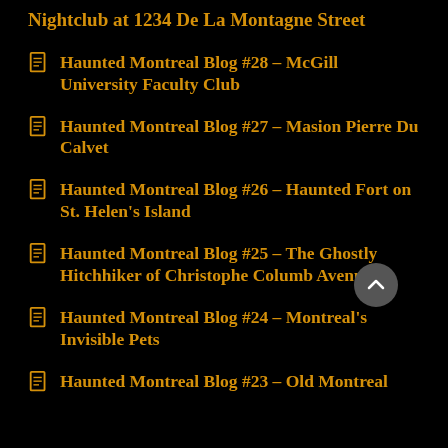Nightclub at 1234 De La Montagne Street
Haunted Montreal Blog #28 – McGill University Faculty Club
Haunted Montreal Blog #27 – Masion Pierre Du Calvet
Haunted Montreal Blog #26 – Haunted Fort on St. Helen's Island
Haunted Montreal Blog #25 – The Ghostly Hitchhiker of Christophe Columb Avenue
Haunted Montreal Blog #24 – Montreal's Invisible Pets
Haunted Montreal Blog #23 – Old Montreal